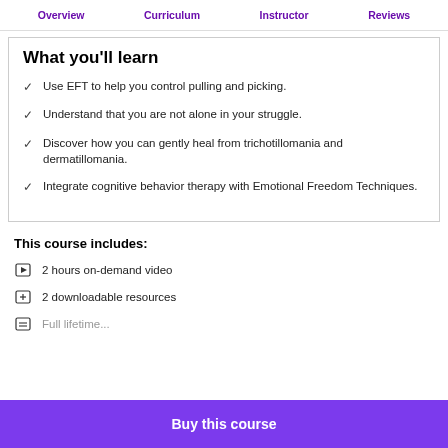Overview  Curriculum  Instructor  Reviews
What you'll learn
Use EFT to help you control pulling and picking.
Understand that you are not alone in your struggle.
Discover how you can gently heal from trichotillomania and dermatillomania.
Integrate cognitive behavior therapy with Emotional Freedom Techniques.
This course includes:
2 hours on-demand video
2 downloadable resources
Full lifetime...
Buy this course